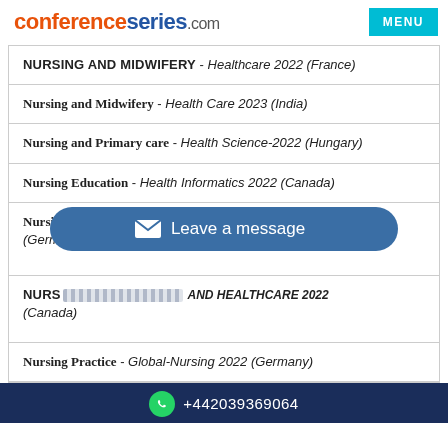conferenceseries.com
NURSING AND MIDWIFERY - Healthcare 2022 (France)
Nursing and Midwifery - Health Care 2023 (India)
Nursing and Primary care - Health Science-2022 (Hungary)
Nursing Education - Health Informatics 2022 (Canada)
Nursing Education & Research - Global-Nursing 2022 (Germany)
NURSING [obscured] AND HEALTHCARE 2022 (Canada)
Nursing Practice - Global-Nursing 2022 (Germany)
+442039369064